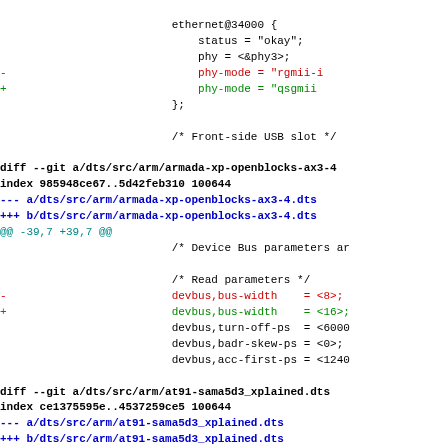ethernet@34000 {
    status = "okay";
    phy = <&phy3>;
-       phy-mode = "rgmii-i
+       phy-mode = "qsgmii"
};

/* Front-side USB slot */

diff --git a/dts/src/arm/armada-xp-openblocks-ax3-4
index 985948ce67..5d42feb310 100644
--- a/dts/src/arm/armada-xp-openblocks-ax3-4.dts
+++ b/dts/src/arm/armada-xp-openblocks-ax3-4.dts
@@ -39,7 +39,7 @@
        /* Device Bus parameters ar

        /* Read parameters */
-       devbus,bus-width    = <8>;
+       devbus,bus-width    = <16>;
        devbus,turn-off-ps  = <6000
        devbus,badr-skew-ps = <0>;
        devbus,acc-first-ps = <1240

diff --git a/dts/src/arm/at91-sama5d3_xplained.dts
index ce1375595e..4537259ce5 100644
--- a/dts/src/arm/at91-sama5d3_xplained.dts
+++ b/dts/src/arm/at91-sama5d3_xplained.dts
@@ -34,7 +34,7 @@
        };